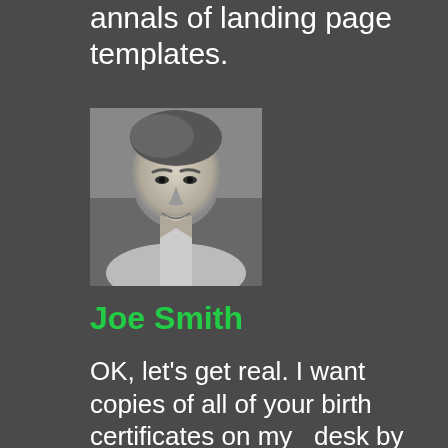annals of landing page templates.
[Figure (photo): Black and white portrait photo of a young man smiling]
Joe Smith
OK, let's get real. I want copies of all of your birth certificates on my desk by EOD.